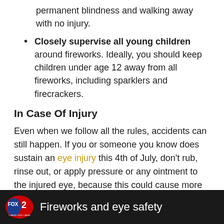permanent blindness and walking away with no injury.
Closely supervise all young children around fireworks. Ideally, you should keep children under age 12 away from all fireworks, including sparklers and firecrackers.
In Case Of Injury
Even when we follow all the rules, accidents can still happen. If you or someone you know does sustain an eye injury this 4th of July, don't rub, rinse out, or apply pressure or any ointment to the injured eye, because this could cause more damage. Instead, go straight to the emergency room. The sooner the eye gets treatment, the better the chances are for recovery.
[Figure (screenshot): FOX 2 news video thumbnail showing fireworks with text 'Fireworks and eye safety']